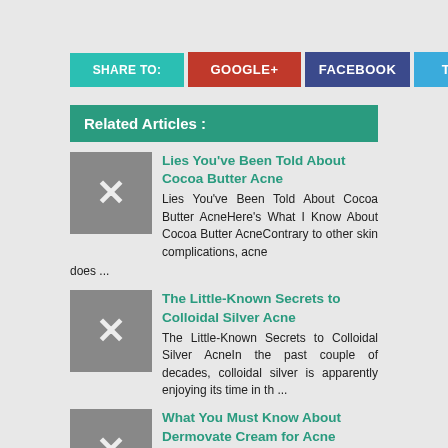SHARE TO: | GOOGLE+ | FACEBOOK | TWITTER
Related Articles :
Lies You've Been Told About Cocoa Butter Acne
Lies You've Been Told About Cocoa Butter AcneHere's What I Know About Cocoa Butter AcneContrary to other skin complications, acne does ...
The Little-Known Secrets to Colloidal Silver Acne
The Little-Known Secrets to Colloidal Silver AcneIn the past couple of decades, colloidal silver is apparently enjoying its time in th ...
What You Must Know About Dermovate Cream for Acne
What You Must Know About Dermovate Cream for AcneThe Key to Successful Dermovate Cream for AcneIf you can't locate the cream I wouldn' ...